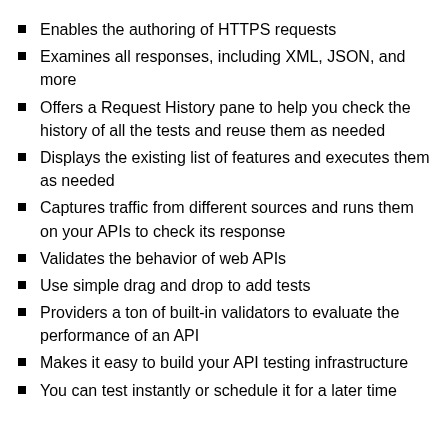Enables the authoring of HTTPS requests
Examines all responses, including XML, JSON, and more
Offers a Request History pane to help you check the history of all the tests and reuse them as needed
Displays the existing list of features and executes them as needed
Captures traffic from different sources and runs them on your APIs to check its response
Validates the behavior of web APIs
Use simple drag and drop to add tests
Providers a ton of built-in validators to evaluate the performance of an API
Makes it easy to build your API testing infrastructure
You can test instantly or schedule it for a later time